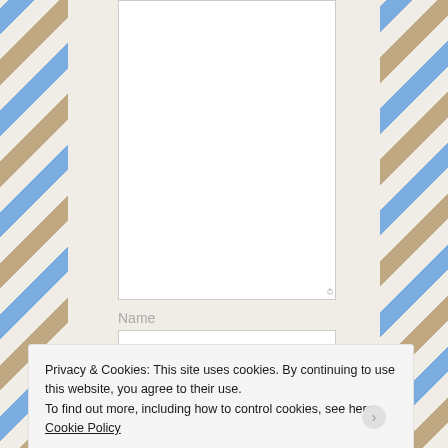[Figure (screenshot): Web form page with diagonal air-mail style border stripes (blue and brown/tan) on left and right sides. A large empty white textarea input field is visible at the top. Below it is a 'Name' label with an empty text input field. A cookie consent banner overlays the bottom portion.]
Name
Privacy & Cookies: This site uses cookies. By continuing to use this website, you agree to their use.
To find out more, including how to control cookies, see here: Cookie Policy
Close and accept